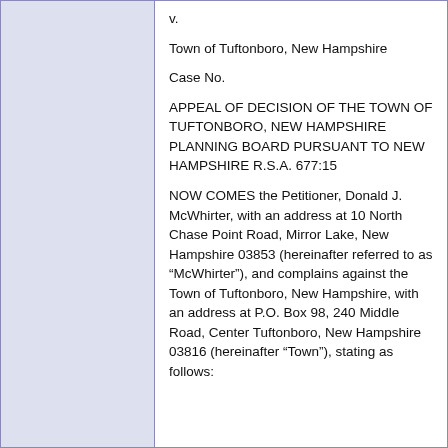v.
Town of Tuftonboro, New Hampshire
Case No.
APPEAL OF DECISION OF THE TOWN OF TUFTONBORO, NEW HAMPSHIRE PLANNING BOARD PURSUANT TO NEW HAMPSHIRE R.S.A. 677:15
NOW COMES the Petitioner, Donald J. McWhirter, with an address at 10 North Chase Point Road, Mirror Lake, New Hampshire 03853 (hereinafter referred to as “McWhirter”), and complains against the Town of Tuftonboro, New Hampshire, with an address at P.O. Box 98, 240 Middle Road, Center Tuftonboro, New Hampshire 03816 (hereinafter “Town”), stating as follows: